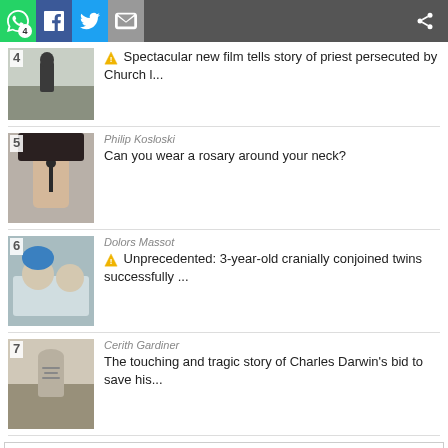Social share bar with WhatsApp, Facebook, Twitter, Email, Share buttons. Badge count: 4
4 – Spectacular new film tells story of priest persecuted by Church l...
5 – Philip Kosloski – Can you wear a rosary around your neck?
6 – Dolors Massot – Unprecedented: 3-year-old cranially conjoined twins successfully ...
7 – Cerith Gardiner – The touching and tragic story of Charles Darwin's bid to save his...
SEE MORE